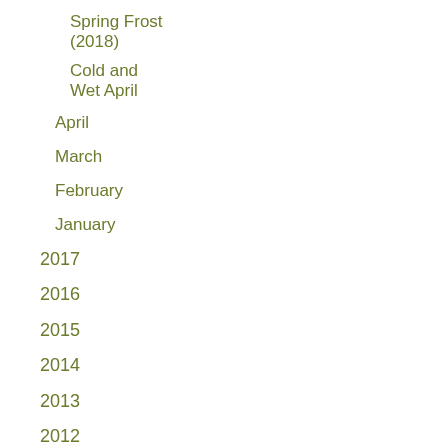Spring Frost (2018)
Cold and Wet April
April
March
February
January
2017
2016
2015
2014
2013
2012
2011
2010